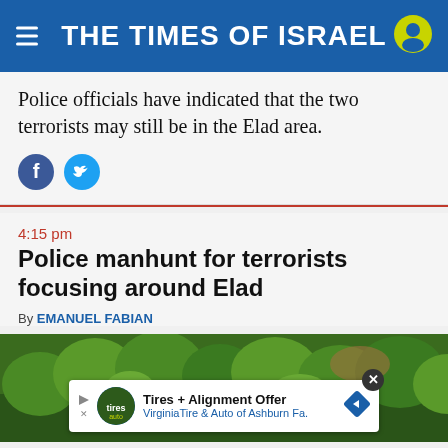THE TIMES OF ISRAEL
Police officials have indicated that the two terrorists may still be in the Elad area.
[Figure (screenshot): Facebook and Twitter share icon buttons]
4:15 pm
Police manhunt for terrorists focusing around Elad
By EMANUEL FABIAN
[Figure (photo): Green forested hillside area, with an ad overlay for Tires + Alignment Offer from VirginiaTire & Auto of Ashburn Fa.]